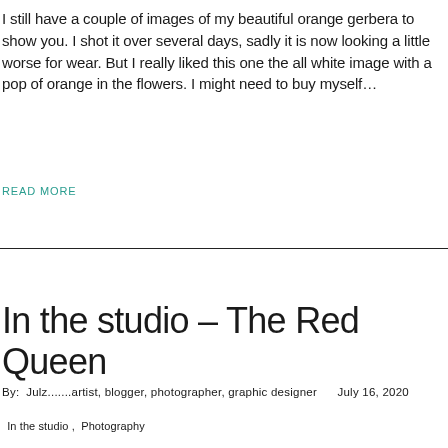I still have a couple of images of my beautiful orange gerbera to show you. I shot it over several days, sadly it is now looking a little worse for wear. But I really liked this one the all white image with a pop of orange in the flowers. I might need to buy myself...
READ MORE
In the studio – The Red Queen
By:  Julz.......artist, blogger, photographer, graphic designer      July 16, 2020
In the studio ,  Photography